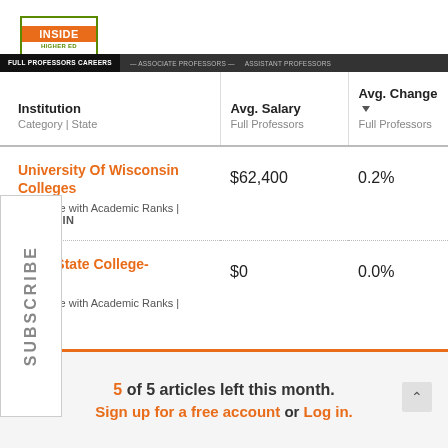[Figure (logo): Inside Higher Ed logo with green border and orange background]
FULL PROFESSORS | CAREERS — ASSOCIATE PROFESSORS — ASSISTANT PROFESSORS
| Institution
Category | State | Avg. Salary
Full Professors | Avg. Change
Full Professors |
| --- | --- | --- |
| University Of Wisconsin Colleges
Associate with Academic Ranks | WISCONSIN | $62,400 | 0.2% |
| Lamar State College-Orange
Associate with Academic Ranks | TEXAS | $0 | 0.0% |
5 of 5 articles left this month. Sign up for a free account or Log in.